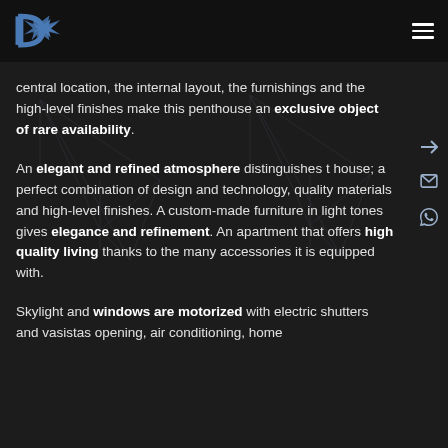DX logo and hamburger menu
central location, the internal layout, the furnishings and the high-level finishes make this penthouse an exclusive object of rare availability.
An elegant and refined atmosphere distinguishes the house; a perfect combination of design and technology, quality materials and high-level finishes. A custom-made furniture in light tones gives elegance and refinement. An apartment that offers high quality living thanks to the many accessories it is equipped with.
Skylight and windows are motorized with electric shutters and vasistas opening, air conditioning, home